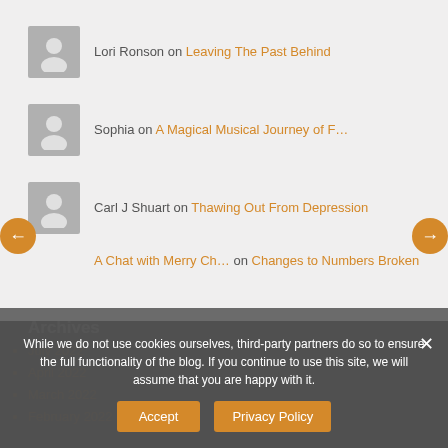Lori Ronson on Leaving The Past Behind
Sophia on A Magical Musical Journey of F...
Carl J Shuart on Thawing Out From Depression
A Chat with Merry Ch... on Changes to Numbers Broken
Archives
July 2022
April 2022
March 2022
February 2022
While we do not use cookies ourselves, third-party partners do so to ensure the full functionality of the blog. If you continue to use this site, we will assume that you are happy with it.